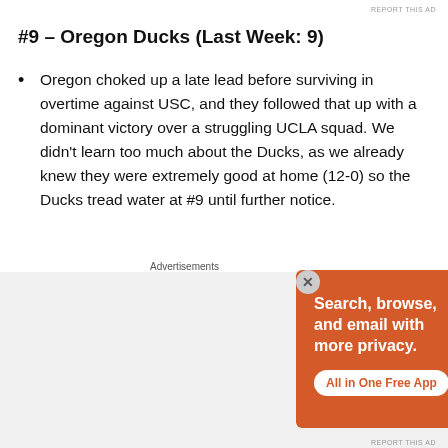#9 – Oregon Ducks (Last Week: 9)
Oregon choked up a late lead before surviving in overtime against USC, and they followed that up with a dominant victory over a struggling UCLA squad. We didn't learn too much about the Ducks, as we already knew they were extremely good at home (12-0) so the Ducks tread water at #9 until further notice.
#8 – Villanova Wildcats (Last Week: Not Ranked)
The Wildcats shot up our rankings, after being little
[Figure (screenshot): DuckDuckGo advertisement banner with text: Search, browse, and email with more privacy. All in One Free App. Shows DuckDuckGo logo on a phone mockup.]